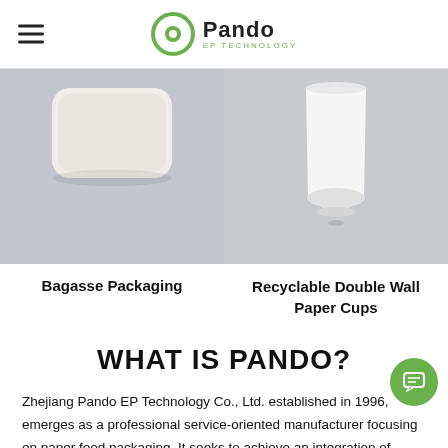Pando EP Technology
[Figure (photo): Two product photos side by side: left shows a white bagasse packaging container on grey background; right shows a white recyclable double wall paper cup on grey background.]
Bagasse Packaging
Recyclable Double Wall Paper Cups
WHAT IS PANDO?
Zhejiang Pando EP Technology Co., Ltd. established in 1996, emerges as a professional service-oriented manufacturer focusing on paper food packaging. It seeks to achieve an integration of coating, printing, machinery, and paper food packaging industries.